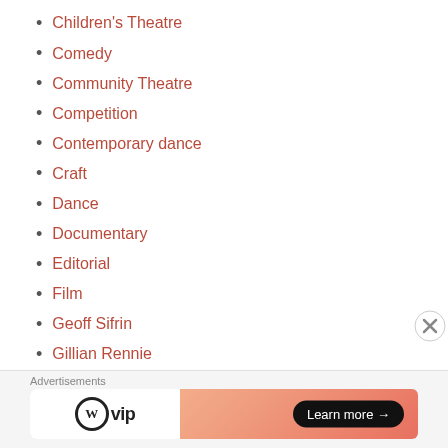Children's Theatre
Comedy
Community Theatre
Competition
Contemporary dance
Craft
Dance
Documentary
Editorial
Film
Geoff Sifrin
Gillian Rennie
Guest Writer
Installation
Interview
jazz
Johannesburg International Mozart Festival
Music
Advertisements